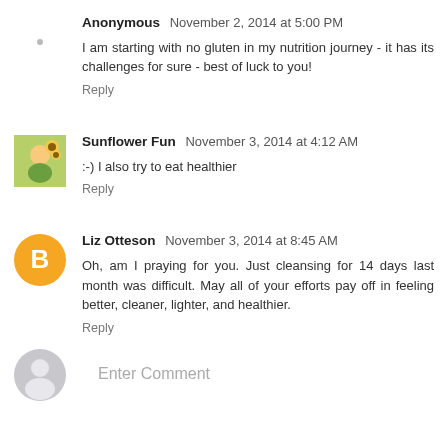Anonymous  November 2, 2014 at 5:00 PM
I am starting with no gluten in my nutrition journey - it has its challenges for sure - best of luck to you!
Reply
Sunflower Fun  November 3, 2014 at 4:12 AM
:-) I also try to eat healthier
Reply
Liz Otteson  November 3, 2014 at 8:45 AM
Oh, am I praying for you. Just cleansing for 14 days last month was difficult. May all of your efforts pay off in feeling better, cleaner, lighter, and healthier.
Reply
Enter Comment